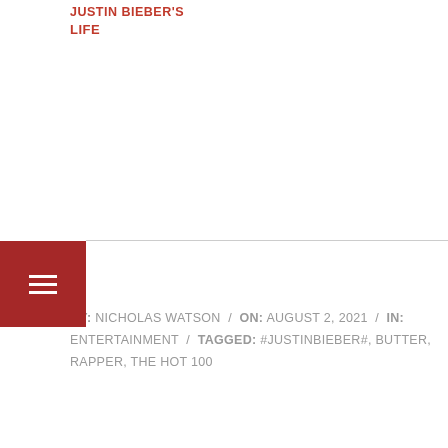life
BY: NICHOLAS WATSON / ON: AUGUST 2, 2021 / IN: ENTERTAINMENT / TAGGED: #JUSTINBIEBER#, BUTTER, RAPPER, THE HOT 100